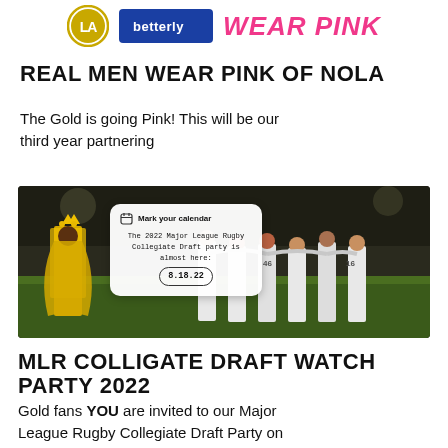[Figure (logo): Header logos: LA Gold logo circle, Betterly blue logo bar, WEAR PINK text in pink italic bold]
REAL MEN WEAR PINK OF NOLA
The Gold is going Pink! This will be our third year partnering
[Figure (photo): Dark stadium photo with rugby players and mascot in gold crown and cape, with a calendar popup overlay reading: Mark your calendar. The 2022 Major League Rugby Collegiate Draft party is almost here: 8.18.22]
MLR COLLIGATE DRAFT WATCH PARTY 2022
Gold fans YOU are invited to our Major League Rugby Collegiate Draft Party on